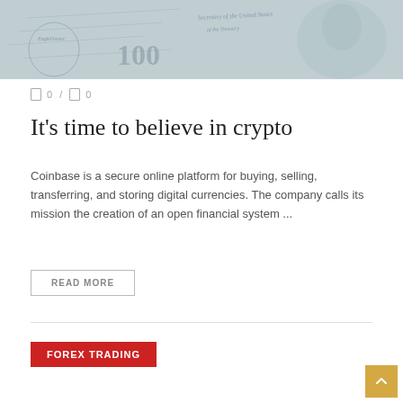[Figure (photo): Hero image showing US dollar bills and currency notes in a light blue-grey tinted style]
0 / 0
It’s time to believe in crypto
Coinbase is a secure online platform for buying, selling, transferring, and storing digital currencies. The company calls its mission the creation of an open financial system ...
READ MORE
FOREX TRADING